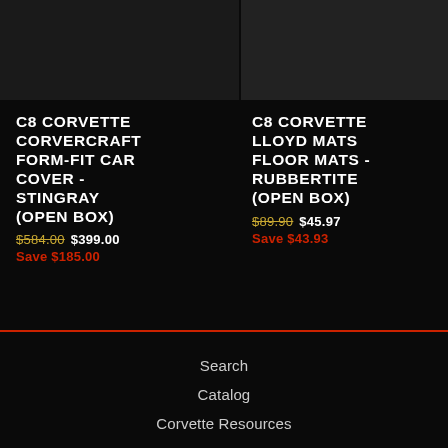[Figure (photo): Dark background product photos strip at top of page showing partial product images]
C8 CORVETTE CORVERCRAFT FORM-FIT CAR COVER - STINGRAY (OPEN BOX)
$584.00 $399.00 Save $185.00
C8 CORVETTE LLOYD MATS FLOOR MATS - RUBBERTITE (OPEN BOX)
$89.90 $45.97 Save $43.93
Search
Catalog
Corvette Resources